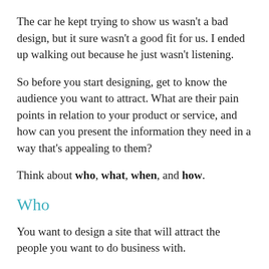The car he kept trying to show us wasn't a bad design, but it sure wasn't a good fit for us. I ended up walking out because he just wasn't listening.
So before you start designing, get to know the audience you want to attract. What are their pain points in relation to your product or service, and how can you present the information they need in a way that's appealing to them?
Think about who, what, when, and how.
Who
You want to design a site that will attract the people you want to do business with.
If your site will exist to sell My Little Pony birthday party